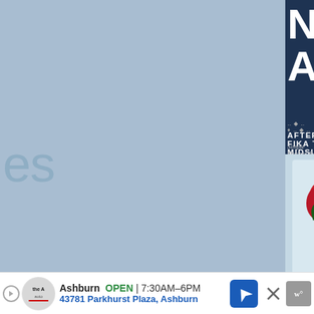[Figure (screenshot): Screenshot of a webpage showing a Scandinavian Gatherings book on the right with a blue background on the left, plus a partial text visible. An ad bar appears at the bottom showing The Auto store in Ashburn with hours and address.]
es
HICKENS
NDINAVIAN
ATHERINGS
AFTERNOON FIKA TO MIDSUMMER FEAST
Simple Recipes & Crafts for Everyday Celebrations
LISSA BAHEN Creator of LaluTheBaker.com
Foreword by Paul Lowe of Sweet Paul
Ashburn  OPEN  7:30AM–6PM
43781 Parkhurst Plaza, Ashburn